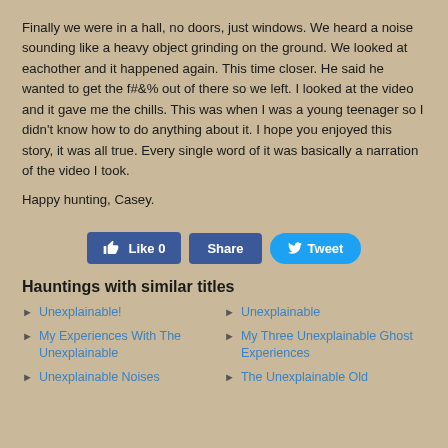Finally we were in a hall, no doors, just windows. We heard a noise sounding like a heavy object grinding on the ground. We looked at eachother and it happened again. This time closer. He said he wanted to get the f#&% out of there so we left. I looked at the video and it gave me the chills. This was when I was a young teenager so I didn't know how to do anything about it. I hope you enjoyed this story, it was all true. Every single word of it was basically a narration of the video I took.
Happy hunting, Casey.
[Figure (other): Social media buttons: Like 0, Share, Tweet]
Hauntings with similar titles
Unexplainable!
Unexplainable
My Experiences With The Unexplainable
My Three Unexplainable Ghost Experiences
Unexplainable Noises
The Unexplainable Old